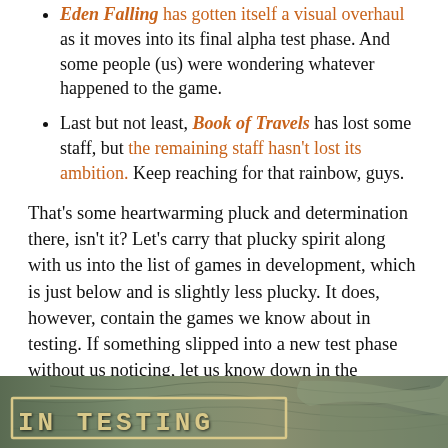Eden Falling has gotten itself a visual overhaul as it moves into its final alpha test phase. And some people (us) were wondering whatever happened to the game.
Last but not least, Book of Travels has lost some staff, but the remaining staff hasn't lost its ambition. Keep reaching for that rainbow, guys.
That's some heartwarming pluck and determination there, isn't it? Let's carry that plucky spirit along with us into the list of games in development, which is just below and is slightly less plucky. It does, however, contain the games we know about in testing. If something slipped into a new test phase without us noticing, let us know down in the comments!
[Figure (illustration): Banner image showing a map background with 'IN TESTING' text in styled block letters with a border, in a golden/tan color on a dark brownish-green map background.]